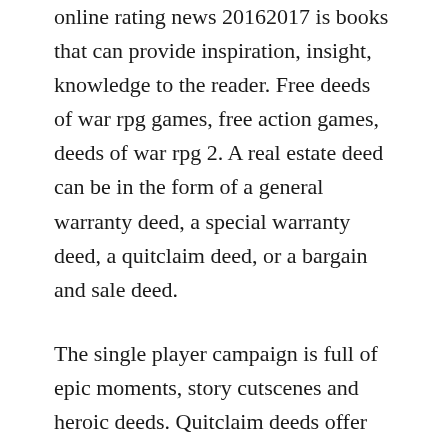online rating news 20162017 is books that can provide inspiration, insight, knowledge to the reader. Free deeds of war rpg games, free action games, deeds of war rpg 2. A real estate deed can be in the form of a general warranty deed, a special warranty deed, a quitclaim deed, or a bargain and sale deed.
The single player campaign is full of epic moments, story cutscenes and heroic deeds. Quitclaim deeds offer no warranties of title and provide the least amount of protection to the grantee. On the run since the nazi war machine leveled manhattan with an atom